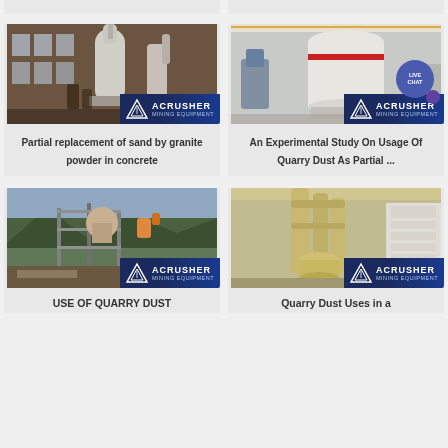[Figure (photo): Partial top strip of two cards clipped at top of page]
[Figure (photo): Industrial mining facility with tall cylindrical equipment, ACRUSHER MINING EQUIPMENT logo overlay]
Partial replacement of sand by granite powder in concrete
[Figure (photo): Large white industrial grinding mill machine indoors, ACRUSHER MINING EQUIPMENT logo, LIVE CHAT bubble overlay]
An Experimental Study On Usage Of Quarry Dust As Partial ...
[Figure (photo): Outdoor quarry/mining industrial equipment on scaffolding, ACRUSHER MINING EQUIPMENT logo overlay]
USE OF QUARRY DUST
[Figure (photo): Industrial dust collection/milling equipment beige color indoors, ACRUSHER MINING EQUIPMENT logo overlay]
Quarry Dust Uses in a